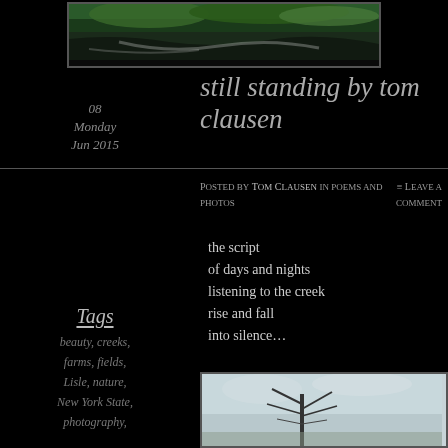[Figure (photo): Photo of a creek or river with green foliage, viewed from above, with white water rapids visible]
08
Monday
Jun 2015
still standing by tom clausen
Posted by Tom Clausen in poems and photos
≡ Leave a comment
the script
of days and nights
listening to the creek
rise and fall
into silence…
Tags
beauty, creeks,
farms, fields,
Lisle, nature,
New York State,
photography,
[Figure (photo): Photo of bare winter trees against a light sky]